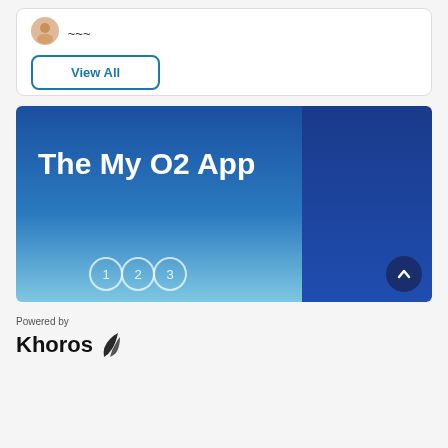[Figure (screenshot): Card section with avatar icon and partial content at top]
View All
[Figure (infographic): The My O2 App banner with blue gradient background, numbered pagination circles (1)(2)(3), and a darker blue right panel]
Powered by
[Figure (logo): Khoros logo with stylized leaf/banana icon]